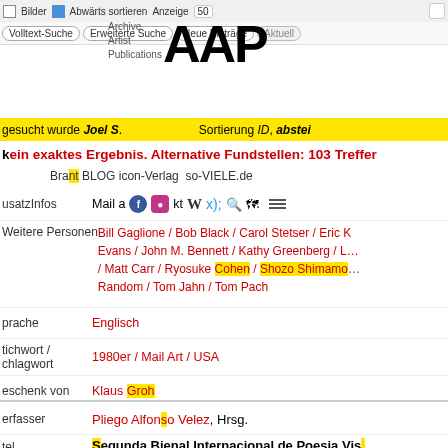Bilder | Abwärts sortieren | Anzeige 50
Volltext-Suche | Erweiterte Suche | Neue Einträge | Aktuell
[Figure (logo): AAP Archive Artist Publications logo]
gesucht wurde Joel S. ... Sortierung ID, abstei...
kein exaktes Ergebnis. Alternative Fundstellen: 103 Treffer
Brand BLOG icon-Verlag so-VIELE.de
usatzInfos — MailaProjekt Wikipedia Twitter — (icons)
Weitere Personen: Bill Gaglione / Bob Black / Carol Stetser / Eric ... Evans / John M. Bennett / Kathy Greenberg / L... / Matt Carr / Ryosuke Cohen / Shozo Shimamo... Random / Tom Jahn / Tom Pach
prache: Englisch
tichwort / chlagwort: 1980er / Mail Art / USA
eschenk von: Klaus Groh
telNummer: 023535654, Permalink, Zugang 20.01.2017
erfasser: Pliego Alfonso Velez, Hrsg.
tel: Segunda Bienal Internacional de Poesia Vis... Alternativa en Mexico 1987-1988